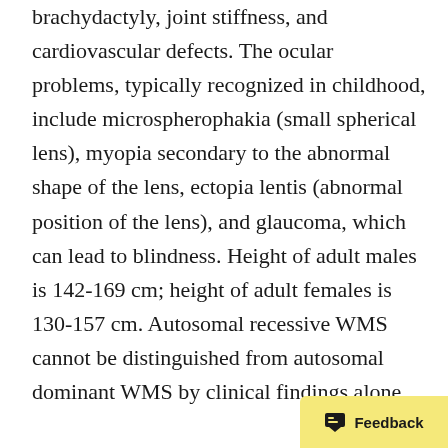brachydactyly, joint stiffness, and cardiovascular defects. The ocular problems, typically recognized in childhood, include microspherophakia (small spherical lens), myopia secondary to the abnormal shape of the lens, ectopia lentis (abnormal position of the lens), and glaucoma, which can lead to blindness. Height of adult males is 142-169 cm; height of adult females is 130-157 cm. Autosomal recessive WMS cannot be distinguished from autosomal dominant WMS by clinical findings alone.
Diagnosis/testing. The diagnosis WMS is established in a proband with characteristic clinical features. Identification of biallelic pathogenic variants in ADAMTS10, ADAMTS17, or LTBP2 or of –